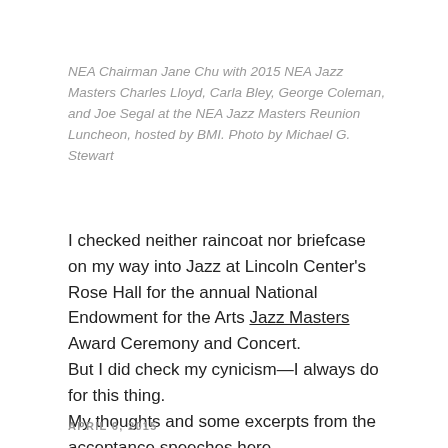NEA Chairman Jane Chu with 2015 NEA Jazz Masters Charles Lloyd, Carla Bley, George Coleman, and Joe Segal at the NEA Jazz Masters Reunion Luncheon, hosted by BMI. Photo by Michael G. Stewart
I checked neither raincoat nor briefcase on my way into Jazz at Lincoln Center's Rose Hall for the annual National Endowment for the Arts Jazz Masters Award Ceremony and Concert.
But I did check my cynicism—I always do for this thing.
My thoughts and some excerpts from the acceptance speeches here.
APRIL 6, 2015